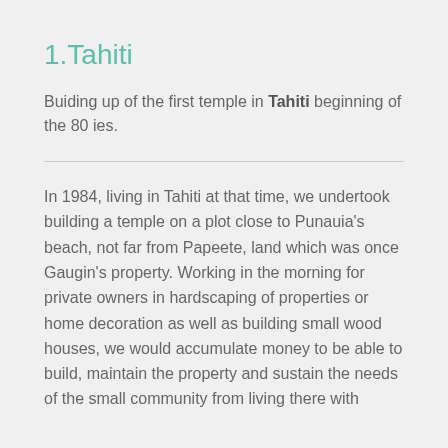1.Tahiti
Buiding up of the first temple in Tahiti beginning of the 80 ies.
In 1984, living in Tahiti at that time, we undertook building a temple on a plot close to Punauia's beach, not far from Papeete, land which was once Gaugin's property. Working in the morning for private owners in hardscaping of properties or home decoration as well as building small wood houses, we would accumulate money to be able to build, maintain the property and sustain the needs of the small community from living there with